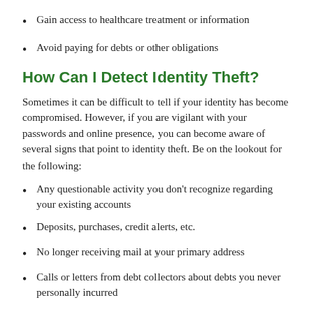Gain access to healthcare treatment or information
Avoid paying for debts or other obligations
How Can I Detect Identity Theft?
Sometimes it can be difficult to tell if your identity has become compromised. However, if you are vigilant with your passwords and online presence, you can become aware of several signs that point to identity theft. Be on the lookout for the following:
Any questionable activity you don't recognize regarding your existing accounts
Deposits, purchases, credit alerts, etc.
No longer receiving mail at your primary address
Calls or letters from debt collectors about debts you never personally incurred